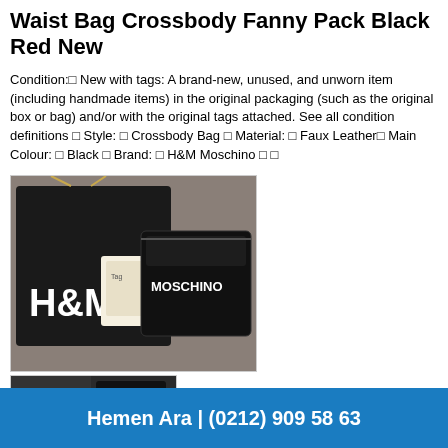Waist Bag Crossbody Fanny Pack Black Red New
Condition:□ New with tags: A brand-new, unused, and unworn item (including handmade items) in the original packaging (such as the original box or bag) and/or with the original tags attached. See all condition definitions □ Style: □ Crossbody Bag □ Material: □ Faux Leather□ Main Colour: □ Black □ Brand: □ H&M Moschino □ □
[Figure (photo): Black H&M Moschino waist bag/crossbody fanny pack with tags attached, shown on a grey surface. A black drawstring dust bag with H&M logo and a black patent leather pouch with MOSCHINO text are visible.]
[Figure (photo): Partial view of a second product image showing additional angles of the black H&M Moschino bag.]
Hemen Ara | (0212) 909 58 63